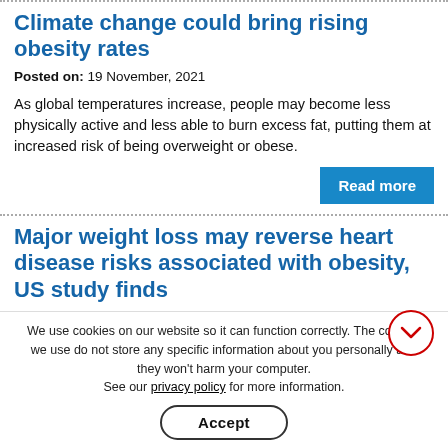Climate change could bring rising obesity rates
Posted on: 19 November, 2021
As global temperatures increase, people may become less physically active and less able to burn excess fat, putting them at increased risk of being overweight or obese.
Major weight loss may reverse heart disease risks associated with obesity, US study finds
Posted on: 19 November, 2021
Major weight loss appears to reverse most of the cardiovascular risk factors in obesity, according to a cross-sectional analysis of the US population being presented at the Annual Meeting of the European Association of the...
We use cookies on our website so it can function correctly. The cookies we use do not store any specific information about you personally and they won't harm your computer. See our privacy policy for more information.